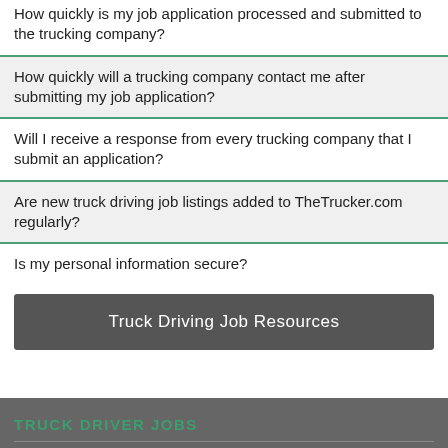How quickly is my job application processed and submitted to the trucking company?
How quickly will a trucking company contact me after submitting my job application?
Will I receive a response from every trucking company that I submit an application?
Are new truck driving job listings added to TheTrucker.com regularly?
Is my personal information secure?
Truck Driving Job Resources
TRUCK DRIVER JOBS
All Jobs